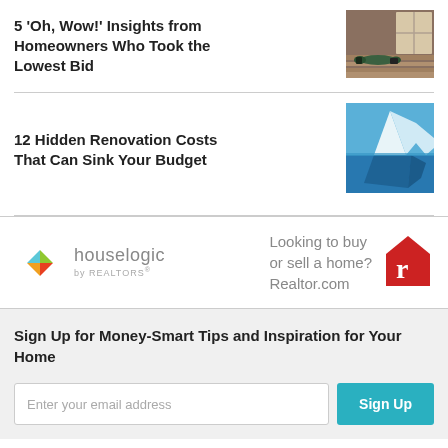5 'Oh, Wow!' Insights from Homeowners Who Took the Lowest Bid
[Figure (photo): Photo of a person lying on a wooden floor with green sleeping bags or pads, in a renovated or construction space]
12 Hidden Renovation Costs That Can Sink Your Budget
[Figure (photo): Photo of an iceberg with a large portion visible above and below a blue ocean surface]
[Figure (logo): Houselogic by REALTORS logo with colorful diamond shapes]
Looking to buy or sell a home? Realtor.com
[Figure (logo): Realtor.com red house logo with letter r]
Sign Up for Money-Smart Tips and Inspiration for Your Home
Enter your email address
Sign Up